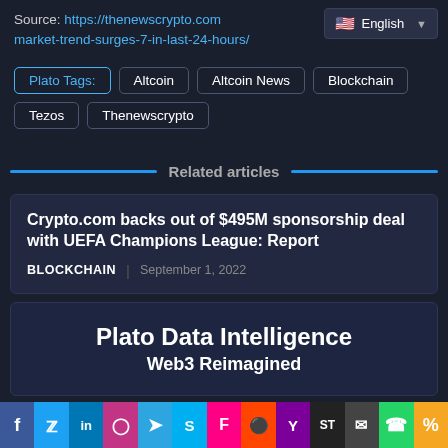Source: https://thenewscrypto.com market-trend-surges-7-in-last-24-hours/
English
Plato Tags: | Altcoin | Altcoin News | Blockchain | Tezos | Thenewscrypto
Related articles
Crypto.com backs out of $495M sponsorship deal with UEFA Champions League: Report
BLOCKCHAIN | September 1, 2022
[Figure (other): Plato Data Intelligence Web3 Reimagined promotional card]
Social share bar: Facebook, Twitter, LinkedIn, Instagram, Telegram, Skype, Flipboard, Reddit, Yahoo, SmartThings, Email, WhatsApp, Share